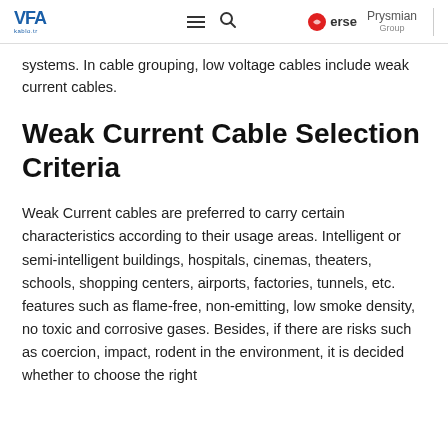VFA | Menu | Search | erse | Prysmian Group
systems. In cable grouping, low voltage cables include weak current cables.
Weak Current Cable Selection Criteria
Weak Current cables are preferred to carry certain characteristics according to their usage areas. Intelligent or semi-intelligent buildings, hospitals, cinemas, theaters, schools, shopping centers, airports, factories, tunnels, etc. features such as flame-free, non-emitting, low smoke density, no toxic and corrosive gases. Besides, if there are risks such as coercion, impact, rodent in the environment, it is decided whether to choose the right